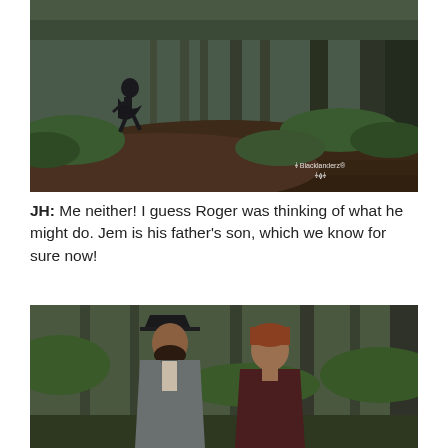[Figure (photo): A child running through a forest with tall trees and green undergrowth. A watermark reading 'Blacklanderz' with a small logo is visible in the lower right corner.]
JH: Me neither! I guess Roger was thinking of what he might do. Jem is his father's son, which we know for sure now!
[Figure (photo): Two men standing in a forest. One wears a dark tricorn hat and grey coat; the other has reddish-brown hair and a dark maroon shirt. Trees and green foliage are visible in the background.]